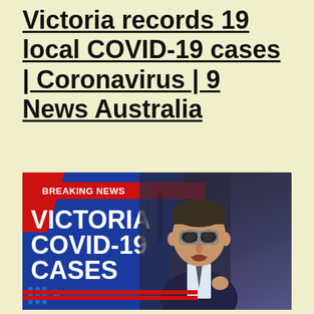Victoria records 19 local COVID-19 cases | Coronavirus | 9 News Australia
[Figure (screenshot): Breaking news thumbnail from 9 News Australia showing 'BREAKING NEWS' banner in red, large white text reading 'VICTORIA COVID-19 CASES' on blue background, Channel 9 logo in bottom left, and a man (Daniel Andrews) in glasses and suit on the right side against a dark city background.]